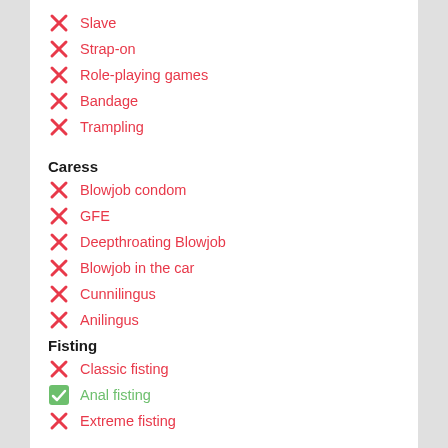Slave
Strap-on
Role-playing games
Bandage
Trampling
Caress
Blowjob condom
GFE
Deepthroating Blowjob
Blowjob in the car
Cunnilingus
Anilingus
Fisting
Classic fisting
Anal fisting
Extreme fisting